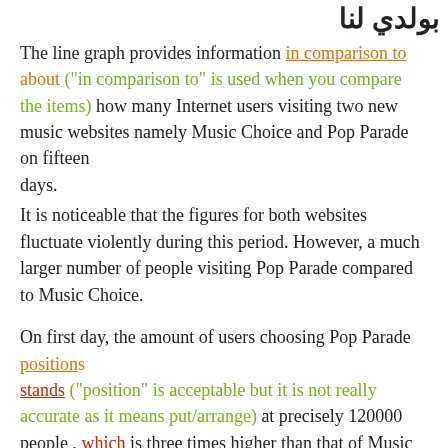[partial Arabic/decorative heading top right]
The line graph provides information in comparison to about ("in comparison to" is used when you compare the items) how many Internet users visiting two new music websites namely Music Choice and Pop Parade on fifteen days.
It is noticeable that the figures for both websites fluctuate violently during this period. However, a much larger number of people visiting Pop Parade compared to Music Choice.
On first day, the amount of users choosing Pop Parade positions stands ("position" is acceptable but it is not really accurate as it means put/arrange) at precisely 120000 people , which is three times higher than that of Music Choice with 40000 users. Later, the figure for Pop Parade experiences a considerable and rapid decline to a low of approximately 35000 people on seventh day while the number of